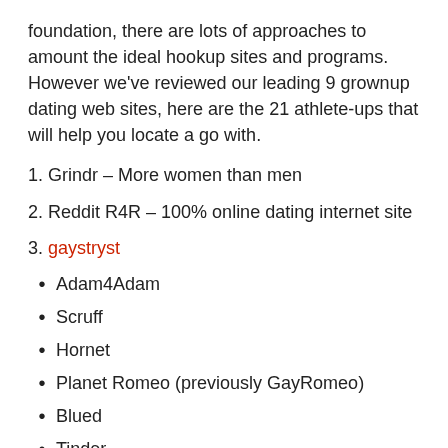foundation, there are lots of approaches to amount the ideal hookup sites and programs. However we've reviewed our leading 9 grownup dating web sites, here are the 21 athlete-ups that will help you locate a go with.
1. Grindr – More women than men
2. Reddit R4R – 100% online dating internet site
3. gaystryst
Adam4Adam
Scruff
Hornet
Planet Romeo (previously GayRomeo)
Blued
Tinder